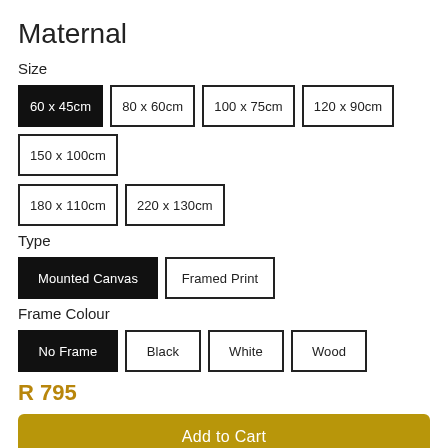Maternal
Size
60 x 45cm (selected), 80 x 60cm, 100 x 75cm, 120 x 90cm, 150 x 100cm, 180 x 110cm, 220 x 130cm
Type
Mounted Canvas (selected), Framed Print
Frame Colour
No Frame (selected), Black, White, Wood
R 795
Add to Cart